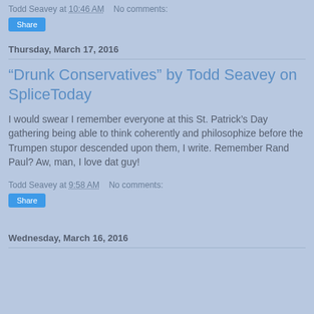Todd Seavey at 10:46 AM    No comments:
Share
Thursday, March 17, 2016
“Drunk Conservatives” by Todd Seavey on SpliceToday
I would swear I remember everyone at this St. Patrick’s Day gathering being able to think coherently and philosophize before the Trumpen stupor descended upon them, I write. Remember Rand Paul? Aw, man, I love dat guy!
Todd Seavey at 9:58 AM    No comments:
Share
Wednesday, March 16, 2016